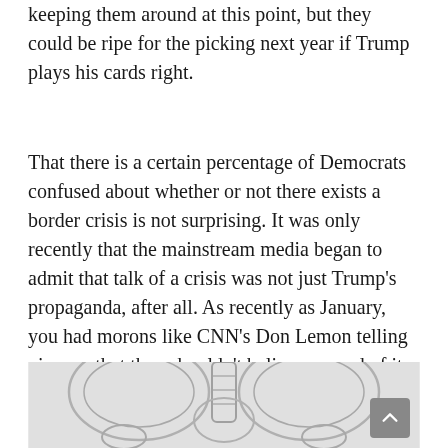keeping them around at this point, but they could be ripe for the picking next year if Trump plays his cards right.
That there is a certain percentage of Democrats confused about whether or not there exists a border crisis is not surprising. It was only recently that the mainstream media began to admit that talk of a crisis was not just Trump’s propaganda, after all. As recently as January, you had morons like CNN’s Don Lemon telling viewers that they shouldn’t believe a word of it.
[Figure (illustration): Partial view of a skeletal anatomy illustration showing the pelvis, lower spine, and upper leg bones against a light gray background.]